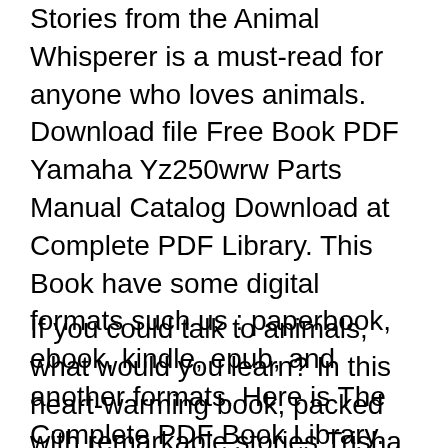Stories from the Animal Whisperer is a must-read for anyone who loves animals. Download file Free Book PDF Yamaha Yz250wrw Parts Manual Catalog Download at Complete PDF Library. This Book have some digital formats such us : paperbook, ebook, kindle, epub, and another formats. Here is The Complete PDF Book Library. It's free to register here to get Book file PDF Yamaha Yz250wrw Parts Manual Catalog Download. simon wiesenthal segev tom stories from the animal whisperer
If you could talk to animals, what would you learn? In this heart-warming book, packed with remarkable stories Trisha McCagh reveals what dogs, cats, horses